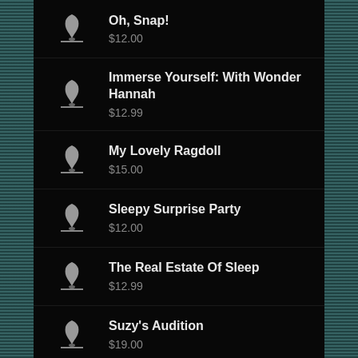Oh, Snap! $12.00
Immerse Yourself: With Wonder Hannah $12.99
My Lovely Ragdoll $15.00
Sleepy Surprise Party $12.00
The Real Estate Of Sleep $12.99
Suzy's Audition $19.00